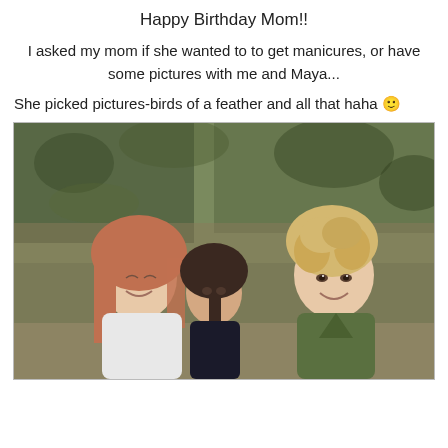Happy Birthday Mom!!
I asked my mom if she wanted to to get manicures, or have some pictures with me and Maya...
She picked pictures-birds of a feather and all that haha 🙂
[Figure (photo): Three women – a mother with long reddish hair laughing, a young girl with braided dark hair leaning in toward her, and an older woman with short curly blonde hair smiling – posed together outdoors with a blurred autumn forest background.]